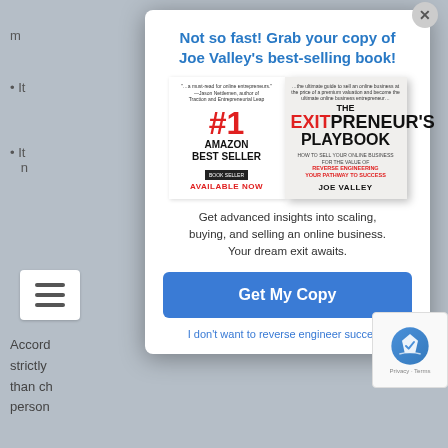m
• It
• It  n
Not so fast! Grab your copy of Joe Valley's best-selling book!
[Figure (photo): Book cover of 'The EXITPreneur's Playbook' by Joe Valley, showing #1 Amazon Best Seller badge and 'Available Now' text]
Get advanced insights into scaling, buying, and selling an online business. Your dream exit awaits.
Get My Copy
I don't want to reverse engineer success.
Accord strictly than ch person
[Figure (logo): Google reCAPTCHA logo with Privacy and Terms text]